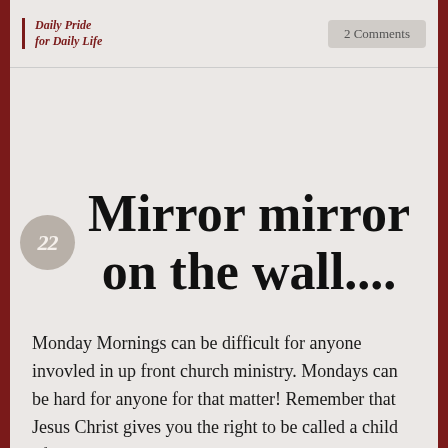Daily Pride for Daily Life | 2 Comments
Mirror mirror on the wall....
Monday Mornings can be difficult for anyone invovled in up front church ministry. Mondays can be hard for anyone for that matter! Remember that Jesus Christ gives you the right to be called a child of God. So then, whatever